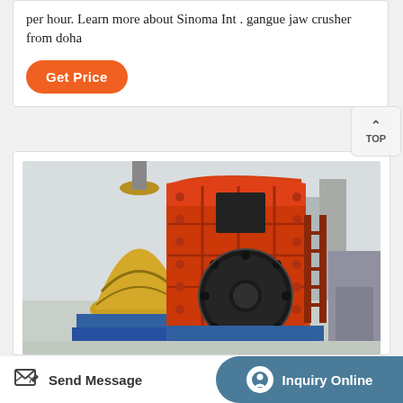per hour. Learn more about Sinoma Int. gangue jaw crusher from doha
Get Price
[Figure (photo): Large orange industrial jaw/impact crusher machine photographed outdoors. The machine is predominantly orange/red colored with a large black circular flywheel on the front face. A yellow cone crusher is visible in the background to the left. The machine sits on a blue frame/base.]
TOP
Send Message
Inquiry Online